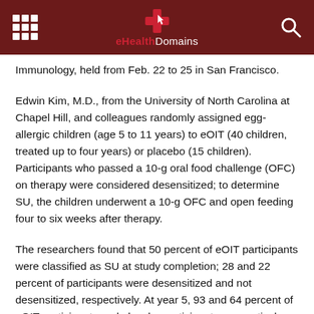eHealthDomains
Immunology, held from Feb. 22 to 25 in San Francisco.
Edwin Kim, M.D., from the University of North Carolina at Chapel Hill, and colleagues randomly assigned egg-allergic children (age 5 to 11 years) to eOIT (40 children, treated up to four years) or placebo (15 children). Participants who passed a 10-g oral food challenge (OFC) on therapy were considered desensitized; to determine SU, the children underwent a 10-g OFC and open feeding four to six weeks after therapy.
The researchers found that 50 percent of eOIT participants were classified as SU at study completion; 28 and 22 percent of participants were desensitized and not desensitized, respectively. At year 5, 93 and 64 percent of eOIT participants and placebo participants, respectively, were ingesting some egg. One hundred percent of SU participants were ingesting concentrated and baked